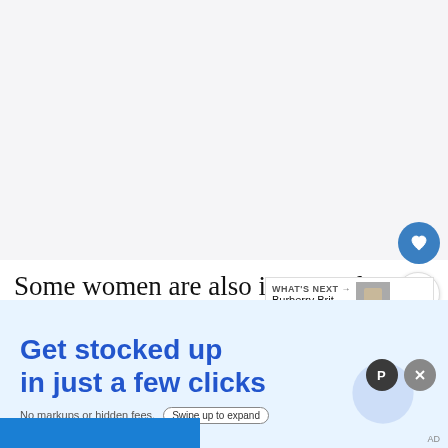[Figure (photo): Light gray image area at top of page, mostly blank/white]
Some women are also interested in [fragrances] as they look for something a little less flowery. Due to the top floral notes, combi...
[Figure (screenshot): WHAT'S NEXT → Burberry Brit for Men... with thumbnail image]
[Figure (screenshot): Advertisement overlay: Get stocked up in just a few clicks. No markups or hidden fees. Swipe up to expand.]